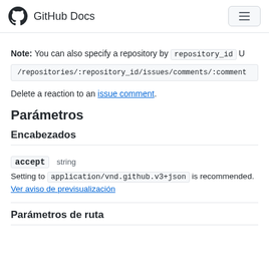GitHub Docs
Note: You can also specify a repository by repository_id U/repositories/:repository_id/issues/comments/:comment
Delete a reaction to an issue comment.
Parámetros
Encabezados
accept  string
Setting to application/vnd.github.v3+json is recommended.
Ver aviso de previsualización
Parámetros de ruta